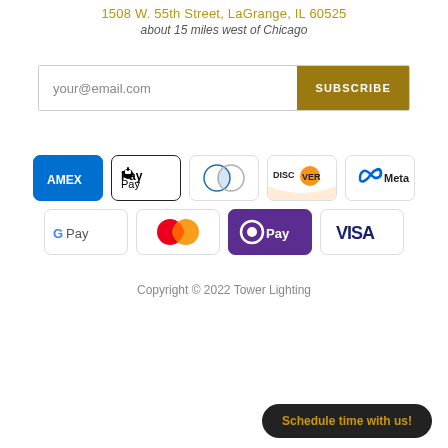1508 W. 55th Street, LaGrange, IL 60525
about 15 miles west of Chicago
your@email.com  SUBSCRIBE
[Figure (other): Payment method logos: AMEX, Apple Pay, Diners Club, Discover, Meta Pay, Google Pay, Mastercard, OPay, Visa]
Copyright © 2022 Tower Lighting
Schedule time with us!